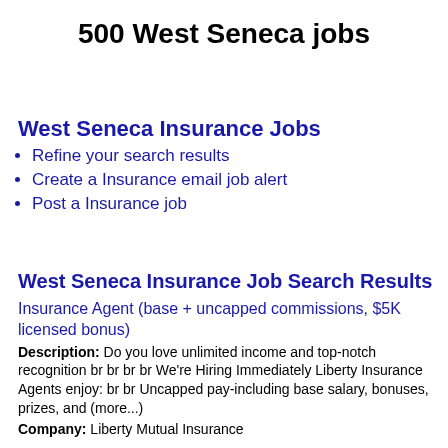500 West Seneca jobs
West Seneca Insurance Jobs
Refine your search results
Create a Insurance email job alert
Post a Insurance job
West Seneca Insurance Job Search Results
Insurance Agent (base + uncapped commissions, $5K licensed bonus)
Description: Do you love unlimited income and top-notch recognition br br br br We're Hiring Immediately Liberty Insurance Agents enjoy: br br Uncapped pay-including base salary, bonuses, prizes, and (more...)
Company: Liberty Mutual Insurance